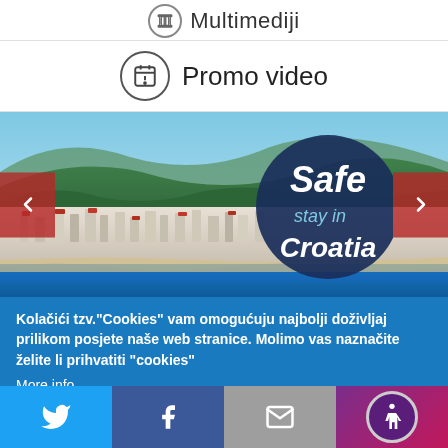Multimediji
Promo video
[Figure (photo): Aerial photo of Croatian coastal town (Crikvenica or similar) with forested hillside, white buildings, and blue Adriatic sea. 'Safe stay in Croatia' badge overlay on dark blue circle. Navigation arrows on left and right.]
Kolačići tzv."Cookies" vam omogućuju najbolji doživljaj prilikom posjete naše web stranice. Molimo vas naznačite želite li prihvatiti "cookies"
More info
Twitter | Facebook | Email | Accessibility